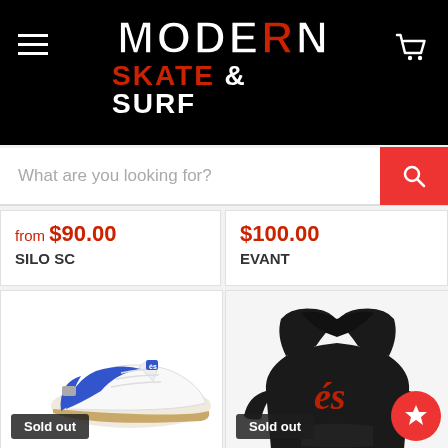MODERN SKATE & SURF
What are you looking for?
from $90.00
SILO SC
$100.00
EVANT
[Figure (photo): Blue and white skateboard shoe (Silo SC) with gum sole, 'Sold out' badge]
[Figure (photo): Black hoodie with red cursive logo on chest, 'Sold out' badge, red star button]